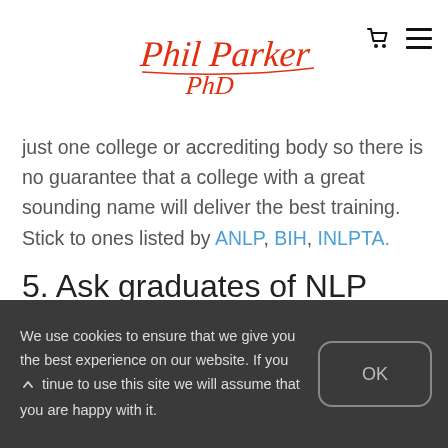[Figure (logo): Phil Parker PhD cursive signature logo in red/orange]
just one college or accrediting body so there is no guarantee that a college with a great sounding name will deliver the best training. Stick to ones listed by ANLP, BIH, INLPTA.
5. Ask graduates of NLP
We use cookies to ensure that we give you the best experience on our website. If you continue to use this site we will assume that you are happy with it.